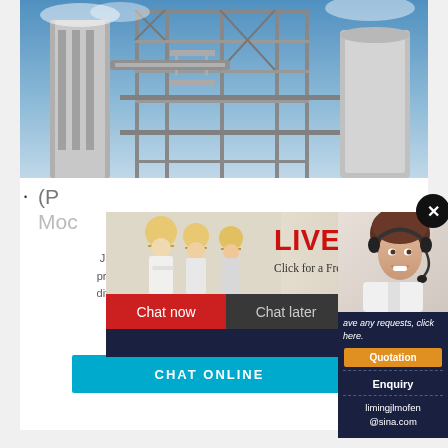[Figure (photo): Industrial facility photo showing large metal structures, scaffolding, conveyor systems against a blue sky]
(P
Moc
Jun 01, 2012 · Grinding in ball mills is an important process applied to reduce the. size of particles wh... different nature and a wide diversity of physical, m... chemical ...
[Figure (screenshot): Live Chat popup overlay showing workers in hard hats, LIVE CHAT heading in red, Click for a Free Consultation subtitle, Chat now and Chat later buttons]
[Figure (photo): Female customer service agent with headset smiling, shown in right sidebar]
ave any requests, click here.
Quotation
Enquiry
limingjlmofen
@sina.com
CHAT ONLINE